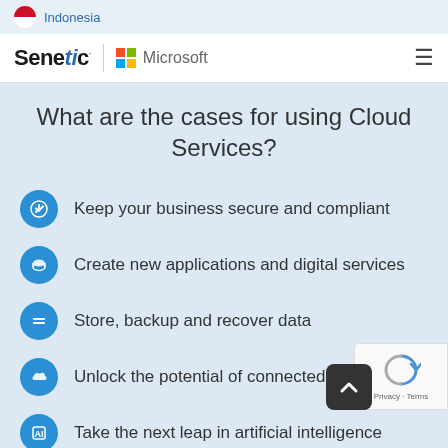Indonesia
[Figure (logo): Senetic | Microsoft co-branded navigation header with hamburger menu]
What are the cases for using Cloud Services?
Keep your business secure and compliant
Create new applications and digital services
Store, backup and recover data
Unlock the potential of connected devices
Take the next leap in artificial intelligence
Analyze data to take decisions and m...